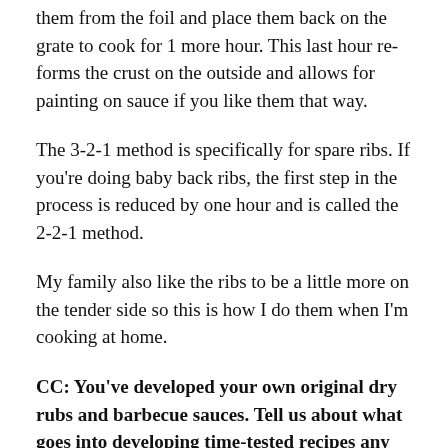them from the foil and place them back on the grate to cook for 1 more hour. This last hour re-forms the crust on the outside and allows for painting on sauce if you like them that way.
The 3-2-1 method is specifically for spare ribs. If you're doing baby back ribs, the first step in the process is reduced by one hour and is called the 2-2-1 method.
My family also like the ribs to be a little more on the tender side so this is how I do them when I'm cooking at home.
CC: You've developed your own original dry rubs and barbecue sauces. Tell us about what goes into developing time-tested recipes any home-cook